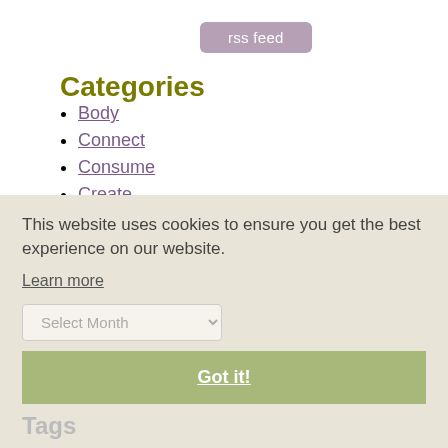rss feed
Categories
Body
Connect
Consume
Create
Mind
Spirit
Uncategorized
This website uses cookies to ensure you get the best experience on our website.
Learn more
Got it!
Tags